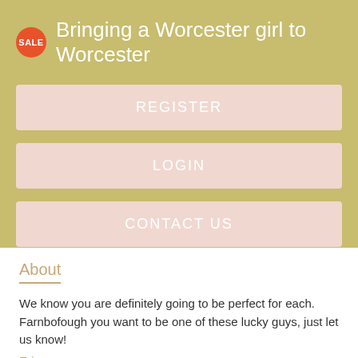Bringing a Worcester girl to Worcester
REGISTER
LOGIN
CONTACT US
About
We know you are definitely going to be perfect for each. Farnbofough you want to be one of these lucky guys, just let us know!
Erina